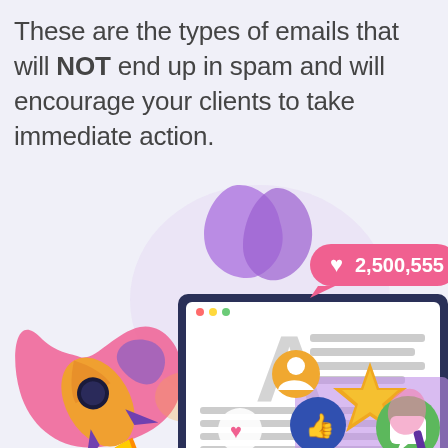These are the types of emails that will NOT end up in spam and will encourage your clients to take immediate action.
[Figure (illustration): Colorful digital marketing illustration featuring a computer monitor displaying a document with a large letter A, a rocket ship, social media like counter showing 2,500,555, a gold star, thumbs up icon, heart icon, and various colorful blob shapes in pink, purple and orange.]